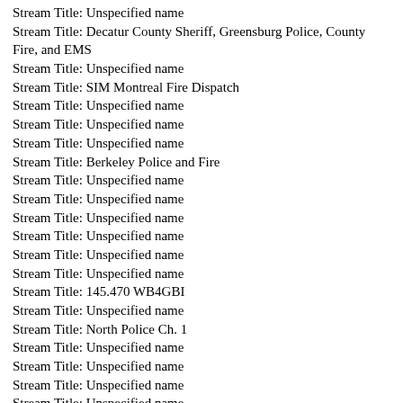Stream Title: Unspecified name
Stream Title: Decatur County Sheriff, Greensburg Police, County Fire, and EMS
Stream Title: Unspecified name
Stream Title: SIM Montreal Fire Dispatch
Stream Title: Unspecified name
Stream Title: Unspecified name
Stream Title: Unspecified name
Stream Title: Berkeley Police and Fire
Stream Title: Unspecified name
Stream Title: Unspecified name
Stream Title: Unspecified name
Stream Title: Unspecified name
Stream Title: Unspecified name
Stream Title: Unspecified name
Stream Title: 145.470 WB4GBI
Stream Title: Unspecified name
Stream Title: North Police Ch. 1
Stream Title: Unspecified name
Stream Title: Unspecified name
Stream Title: Unspecified name
Stream Title: Unspecified name
Stream Title: Unspecified name
Stream Title: Ennis Police and Fire, Ellis County Sheriff
Stream Title: Linn County Feed
Stream Title: Unspecified name